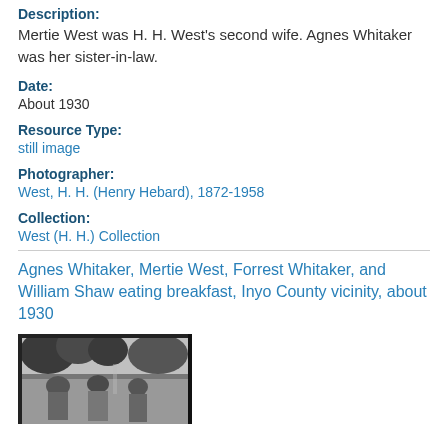Description:
Mertie West was H. H. West's second wife. Agnes Whitaker was her sister-in-law.
Date:
About 1930
Resource Type:
still image
Photographer:
West, H. H. (Henry Hebard), 1872-1958
Collection:
West (H. H.) Collection
Agnes Whitaker, Mertie West, Forrest Whitaker, and William Shaw eating breakfast, Inyo County vicinity, about 1930
[Figure (photo): Black and white photograph showing people eating breakfast outdoors, with trees visible in background, Inyo County vicinity, about 1930]